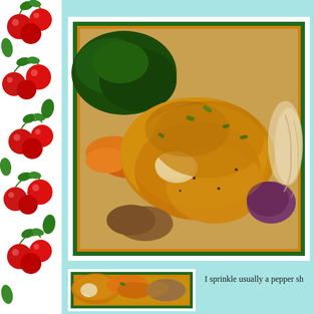[Figure (photo): Decorative cherry pattern sidebar on the left edge of the page, showing red cherries with green leaves on white background]
[Figure (photo): Large framed photo of cooked chicken drumsticks/legs with vegetables (spinach, carrots, onions) on a patterned plate, framed with white, dark green, and orange borders]
[Figure (photo): Smaller framed photo showing a similar dish of chicken with vegetables, partially visible at bottom left]
I sprinkle usually a pepper sh